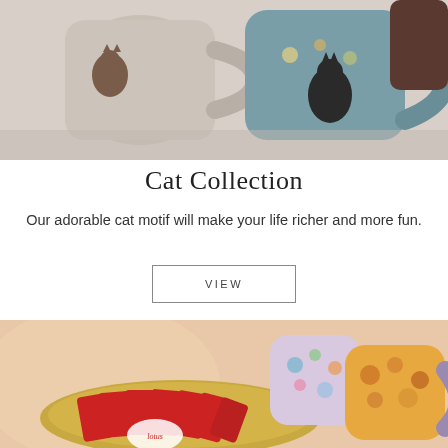[Figure (photo): Two ceramic mugs with cat motif designs on a light background – one grey/cream with brown cat silhouettes, one teal/blue with black cat and floral pattern]
Cat Collection
Our adorable cat motif will make your life richer and more fun.
VIEW
[Figure (photo): Colorful floral-patterned mugs and an oval dish filled with red Lotus biscuit packets on a warm peachy background]